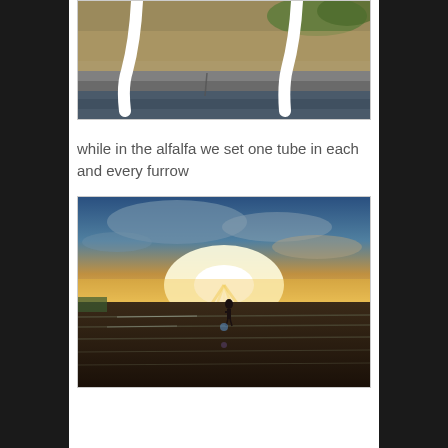[Figure (photo): Close-up photo of white curved irrigation tubes/pipes over a concrete irrigation channel, with dry grass and some green vegetation in the background.]
while in the alfalfa we set one tube in each and every furrow
[Figure (photo): Wide landscape photo of a person silhouetted against a bright sunset over a flat agricultural field with furrows, dramatic sky with clouds.]